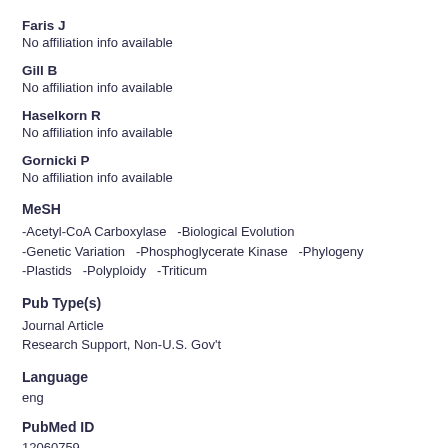Faris J
No affiliation info available
Gill B
No affiliation info available
Haselkorn R
No affiliation info available
Gornicki P
No affiliation info available
MeSH
-Acetyl-CoA Carboxylase  -Biological Evolution -Genetic Variation  -Phosphoglycerate Kinase  -Phylogeny -Plastids  -Polyploidy  -Triticum
Pub Type(s)
Journal Article
Research Support, Non-U.S. Gov't
Language
eng
PubMed ID
12060759